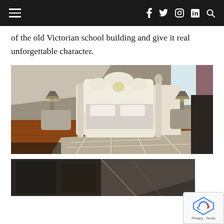navigation bar with hamburger menu and social icons: f, twitter, instagram, in, search
of the old Victorian school building and give it real unforgettable character.
[Figure (photo): Interior photo of a room with an ornate white and gold Baroque-style bed frame, wooden floor, decorative rug, and bedside lamps with warm lighting in an angled attic space.]
[Figure (photo): Partial view of a room interior, bottom of page, dark tones.]